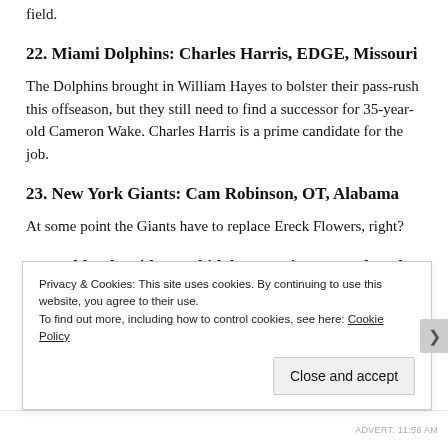field.
22. Miami Dolphins: Charles Harris, EDGE, Missouri
The Dolphins brought in William Hayes to bolster their pass-rush this offseason, but they still need to find a successor for 35-year-old Cameron Wake. Charles Harris is a prime candidate for the job.
23. New York Giants: Cam Robinson, OT, Alabama
At some point the Giants have to replace Ereck Flowers, right?
24. Oakland Raiders: Chidobe Awuzie, CB, Colorado
Privacy & Cookies: This site uses cookies. By continuing to use this website, you agree to their use.
To find out more, including how to control cookies, see here: Cookie Policy
Close and accept